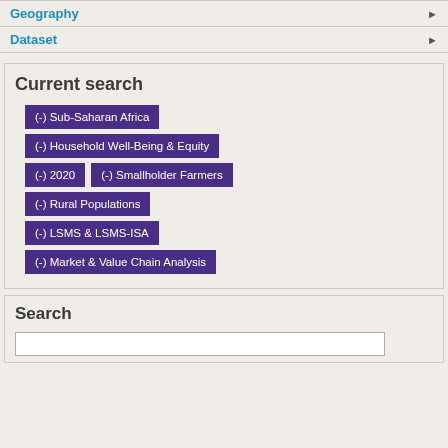Geography
Dataset
Current search
(-) Sub-Saharan Africa
(-) Household Well-Being & Equity
(-) 2020
(-) Smallholder Farmers
(-) Rural Populations
(-) LSMS & LSMS-ISA
(-) Market & Value Chain Analysis
Search